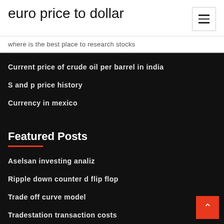euro price to dollar
where is the best place to research stocks
Current price of crude oil per barrel in india
S and p price history
Currency in mexico
Featured Posts
Aselsan investing analiz
Ripple down counter d flip flop
Trade off curve model
Tradestation transaction costs
Most famous day trader